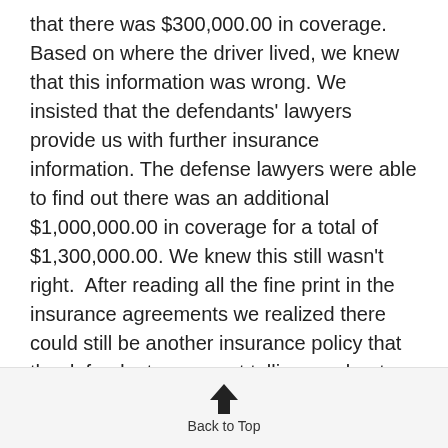that there was $300,000.00 in coverage. Based on where the driver lived, we knew that this information was wrong. We insisted that the defendants' lawyers provide us with further insurance information. The defense lawyers were able to find out there was an additional $1,000,000.00 in coverage for a total of $1,300,000.00. We knew this still wasn't right.  After reading all the fine print in the insurance agreements we realized there could still be another insurance policy that the defendants were not telling us about. We forced the defendants' lawyers to give us information about the other insurance policy which had
Back to Top